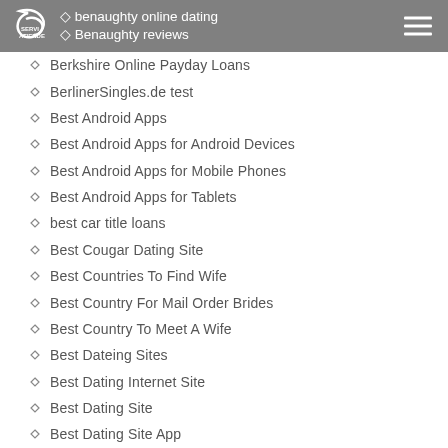benaughty online dating | Benaughty reviews
Berkshire Online Payday Loans
BerlinerSingles.de test
Best Android Apps
Best Android Apps for Android Devices
Best Android Apps for Mobile Phones
Best Android Apps for Tablets
best car title loans
Best Cougar Dating Site
Best Countries To Find Wife
Best Country For Mail Order Brides
Best Country To Meet A Wife
Best Dateing Sites
Best Dating Internet Site
Best Dating Site
Best Dating Site App